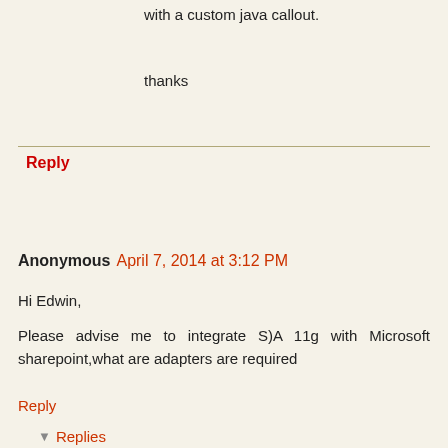with a custom java callout.
thanks
Reply
Anonymous April 7, 2014 at 3:12 PM
Hi Edwin,
Please advise me to integrate S)A 11g with Microsoft sharepoint,what are adapters are required
Reply
▾ Replies
Unknown April 9, 2014 at 8:35 PM
Hi,
Only the WS adapter will work or sharepoint need to use the .net weblogic jms client